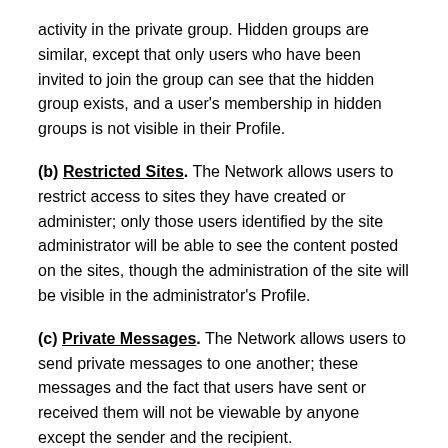activity in the private group. Hidden groups are similar, except that only users who have been invited to join the group can see that the hidden group exists, and a user's membership in hidden groups is not visible in their Profile.
(b) Restricted Sites. The Network allows users to restrict access to sites they have created or administer; only those users identified by the site administrator will be able to see the content posted on the sites, though the administration of the site will be visible in the administrator's Profile.
(c) Private Messages. The Network allows users to send private messages to one another; these messages and the fact that users have sent or received them will not be viewable by anyone except the sender and the recipient.
If you create a site or group on the Commons, that space is still subject to the policies and guidelines that govern the Network as a whole, and you as owner/moderator are